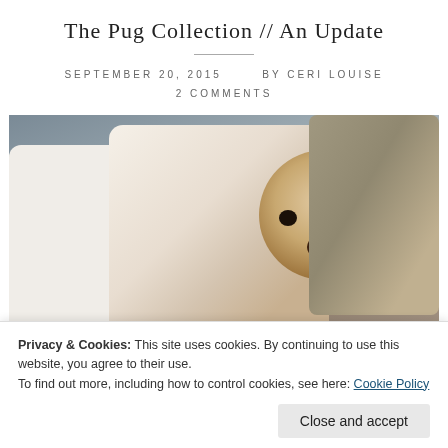The Pug Collection // An Update
SEPTEMBER 20, 2015   BY CERI LOUISE
2 COMMENTS
[Figure (photo): Photo of a pug face printed on a cushion/pillow on a sofa with other decorative pillows including a fluffy one, and a chevron/geometric patterned item visible at the bottom]
Privacy & Cookies: This site uses cookies. By continuing to use this website, you agree to their use.
To find out more, including how to control cookies, see here: Cookie Policy
Close and accept